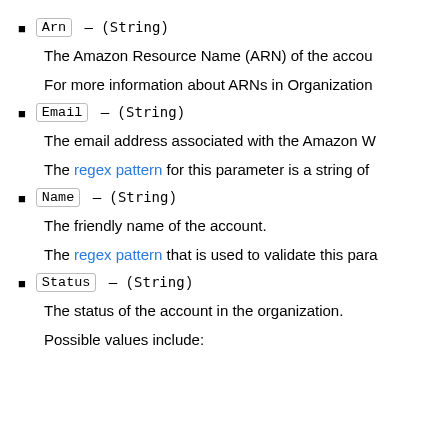Arn — (String)
The Amazon Resource Name (ARN) of the account.
For more information about ARNs in Organizations
Email — (String)
The email address associated with the Amazon W
The regex pattern for this parameter is a string of
Name — (String)
The friendly name of the account.
The regex pattern that is used to validate this para
Status — (String)
The status of the account in the organization.
Possible values include: